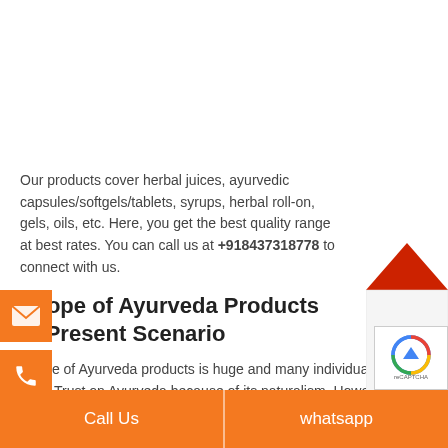Our products cover herbal juices, ayurvedic capsules/softgels/tablets, syrups, herbal roll-on, gels, oils, etc. Here, you get the best quality range at best rates. You can call us at +918437318778 to connect with us.
Scope of Ayurveda Products in Present Scenario
Scope of Ayurveda products is huge and many individual in India Trust on Ayurveda because of its naturalism. However, In Madhya Pradesh the demand for the Aryurveda. People there believe in Ayurveda science. Therefore, setting up a Ayurveda Company in Madhya Pradesh could be a fruitful business for you. Hence, can seen that in 2019 the groth rate of ayurveda products w...
[Figure (other): Download Product List widget — red house-shaped icon with dark red roof, white body with 'Download Product List' text in red]
[Figure (other): reCAPTCHA badge with Google logo]
Call Us   |   whatsapp